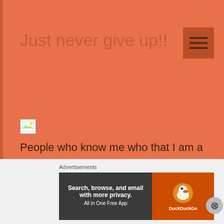Just never give up!!
[Figure (illustration): Broken image placeholder icon (small landscape thumbnail that failed to load)]
People who know me who that I am a very determined person and I have always been determined. If I wanted something than I have always found a way to get it, one way or another. I sometimes amaze myself at how determined I am even with doing the impossible because just I never give up.
Advertisements
[Figure (screenshot): DuckDuckGo advertisement banner: 'Search, browse, and email with more privacy. All in One Free App' with DuckDuckGo logo on orange background]